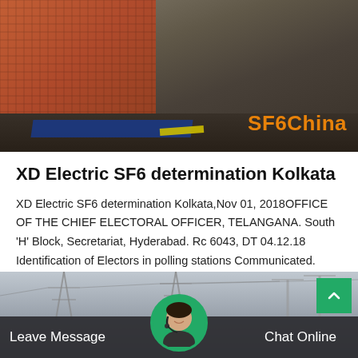[Figure (photo): Industrial equipment photo showing orange metal cage/guard structure on left, dark floor with blue mat and yellow stripe, with 'SF6China' text watermark in orange at bottom right]
XD Electric SF6 determination Kolkata
XD Electric SF6 determination Kolkata,Nov 01, 2018OFFICE OF THE CHIEF ELECTORAL OFFICER, TELANGANA. South 'H' Block, Secretariat, Hyderabad. Rc 6043, DT 04.12.18 Identification of Electors in polling stations Communicated. Sub:
[Figure (screenshot): Get Price button with teal/green border and text]
[Figure (photo): Bottom section showing power line towers/electrical substation in grayscale, with green back-to-top button, chat avatar, Leave Message and Chat Online footer bar]